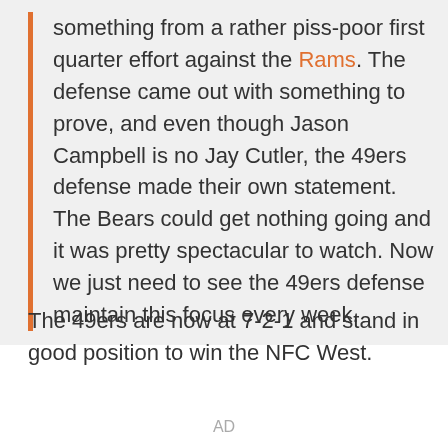something from a rather piss-poor first quarter effort against the Rams. The defense came out with something to prove, and even though Jason Campbell is no Jay Cutler, the 49ers defense made their own statement. The Bears could get nothing going and it was pretty spectacular to watch. Now we just need to see the 49ers defense maintain this focus every week.
The 49ers are now at 7-2-1 and stand in good position to win the NFC West.
AD